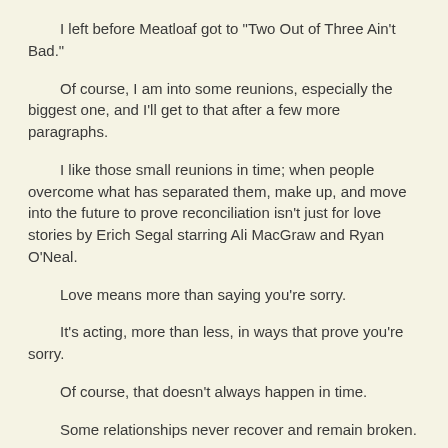I left before Meatloaf got to "Two Out of Three Ain't Bad."
Of course, I am into some reunions, especially the biggest one, and I'll get to that after a few more paragraphs.
I like those small reunions in time; when people overcome what has separated them, make up, and move into the future to prove reconciliation isn't just for love stories by Erich Segal starring Ali MacGraw and Ryan O'Neal.
Love means more than saying you're sorry.
It's acting, more than less, in ways that prove you're sorry.
Of course, that doesn't always happen in time.
Some relationships never recover and remain broken.
Fortunately, in heaven, there's no room for any of those pejoratives.
That's because, as Jesus said in describing heaven, it's paradise.